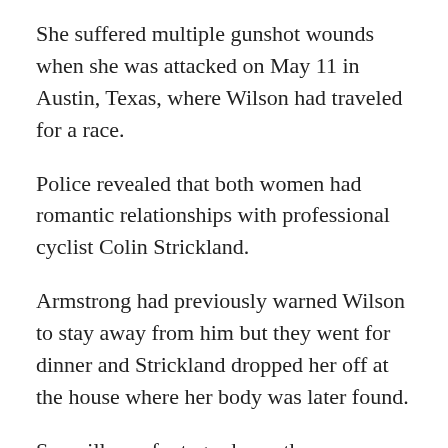She suffered multiple gunshot wounds when she was attacked on May 11 in Austin, Texas, where Wilson had traveled for a race.
Police revealed that both women had romantic relationships with professional cyclist Colin Strickland.
Armstrong had previously warned Wilson to stay away from him but they went for dinner and Strickland dropped her off at the house where her body was later found.
Surveillance footage shows the car suspected to be Armstrong’s arrived at the home a minute later. When asked by authorities, Armstrong provided no explanation.
According to the affidavit, Strickland told police he was in a relationship with Armstrong for three years, but had dated Wilson when they were on a break in their relationship.